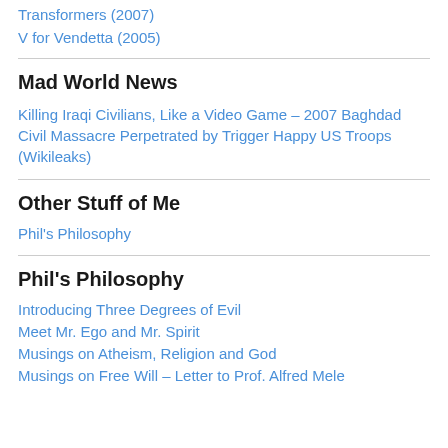Transformers (2007)
V for Vendetta (2005)
Mad World News
Killing Iraqi Civilians, Like a Video Game – 2007 Baghdad Civil Massacre Perpetrated by Trigger Happy US Troops (Wikileaks)
Other Stuff of Me
Phil's Philosophy
Phil's Philosophy
Introducing Three Degrees of Evil
Meet Mr. Ego and Mr. Spirit
Musings on Atheism, Religion and God
Musings on Free Will – Letter to Prof. Alfred Mele